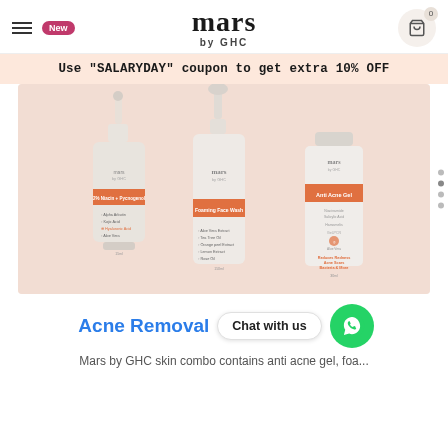mars by GHC
Use "SALARYDAY" coupon to get extra 10% OFF
[Figure (photo): Three Mars by GHC skin care products on a pink background: a dropper serum bottle, a foaming face wash pump bottle, and an anti acne gel tube.]
Acne Removal
Chat with us
Mars by GHC skin combo contains anti acne gel, foa...